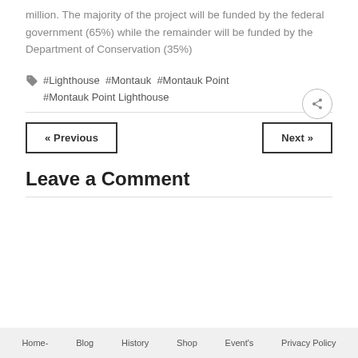million. The majority of the project will be funded by the federal government (65%) while the remainder will be funded by the Department of Conservation (35%)
#Lighthouse #Montauk #Montauk Point #Montauk Point Lighthouse
Leave a Comment
Home- Blog History Shop Event's Privacy Policy